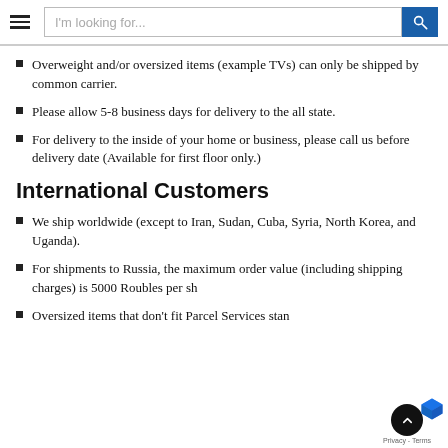I'm looking for...
Overweight and/or oversized items (example TVs) can only be shipped by common carrier.
Please allow 5-8 business days for delivery to the all state.
For delivery to the inside of your home or business, please call us before delivery date (Available for first floor only.)
International Customers
We ship worldwide (except to Iran, Sudan, Cuba, Syria, North Korea, and Uganda).
For shipments to Russia, the maximum order value (including shipping charges) is 5000 Roubles per sh
Oversized items that don't fit Parcel Services stan